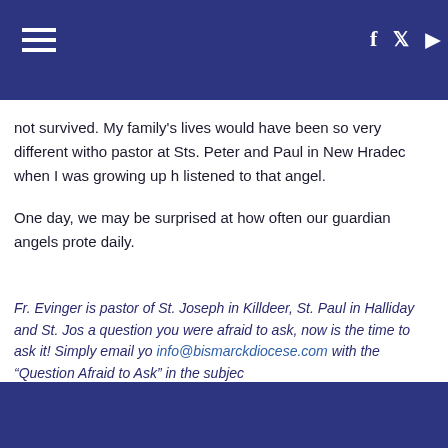Navigation and social icons header bar
not survived. My family's lives would have been so very different witho pastor at Sts. Peter and Paul in New Hradec when I was growing up h listened to that angel.
One day, we may be surprised at how often our guardian angels prote daily.
Fr. Evinger is pastor of St. Joseph in Killdeer, St. Paul in Halliday and St. Jos a question you were afraid to ask, now is the time to ask it! Simply email yo info@bismarckdiocese.com with the “Question Afraid to Ask” in the subjec